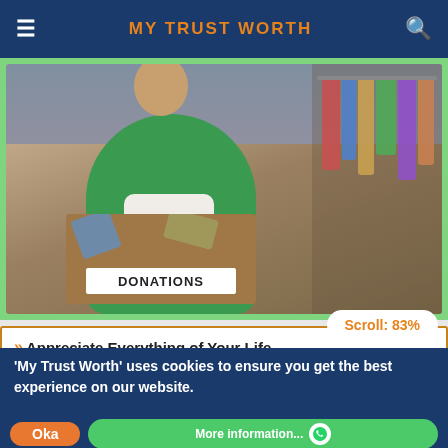MY TRUST WORTH
[Figure (photo): Person in green cardigan holding a cardboard box labeled DONATIONS, with a clothing rack visible in the background]
>> Appreciate Everything of Your Life
[Figure (photo): Partial image strip showing decorative items in golden/brown tones]
'My Trust Worth' uses cookies to ensure you get the best experience on our website.
Scroll: 83%
Oka
More information...